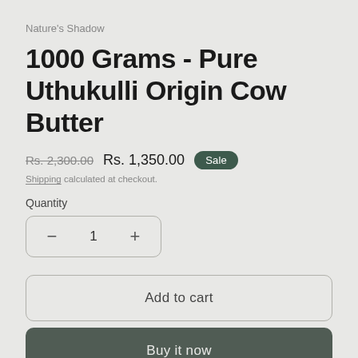Nature's Shadow
1000 Grams - Pure Uthukulli Origin Cow Butter
Rs. 2,300.00  Rs. 1,350.00  Sale
Shipping calculated at checkout.
Quantity
− 1 +
Add to cart
Buy it now